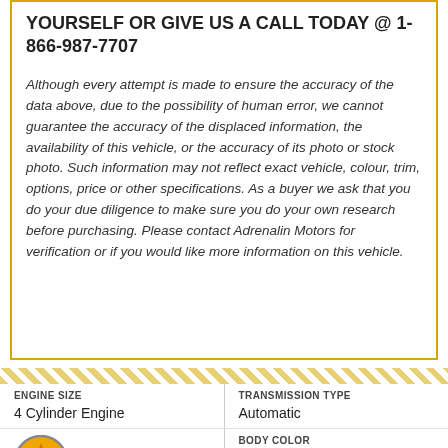YOURSELF OR GIVE US A CALL TODAY @ 1-866-987-7707
Although every attempt is made to ensure the accuracy of the data above, due to the possibility of human error, we cannot guarantee the accuracy of the displaced information, the availability of this vehicle, or the accuracy of its photo or stock photo. Such information may not reflect exact vehicle, colour, trim, options, price or other specifications. As a buyer we ask that you do your due diligence to make sure you do your own research before purchasing. Please contact Adrenalin Motors for verification or if you would like more information on this vehicle.
| ENGINE SIZE | TRANSMISSION TYPE |
| --- | --- |
| 4 Cylinder Engine | Automatic |
| [rating badge] LE
Su. | BODY COLOR
Grey |